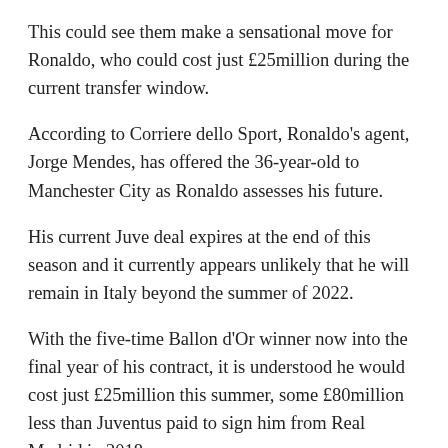This could see them make a sensational move for Ronaldo, who could cost just £25million during the current transfer window.
According to Corriere dello Sport, Ronaldo's agent, Jorge Mendes, has offered the 36-year-old to Manchester City as Ronaldo assesses his future.
His current Juve deal expires at the end of this season and it currently appears unlikely that he will remain in Italy beyond the summer of 2022.
With the five-time Ballon d'Or winner now into the final year of his contract, it is understood he would cost just £25million this summer, some £80million less than Juventus paid to sign him from Real Madrid in 2018.
This is made more staggering when it is considered that despite his age, Ronaldo finished as the top scorer at this